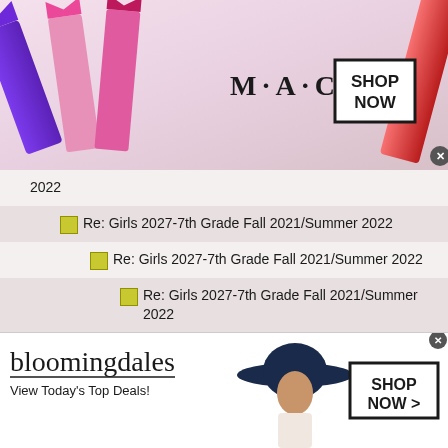[Figure (photo): MAC Cosmetics advertisement banner with lipsticks and SHOP NOW button]
2022
Re: Girls 2027-7th Grade Fall 2021/Summer 2022
Re: Girls 2027-7th Grade Fall 2021/Summer 2022
Re: Girls 2027-7th Grade Fall 2021/Summer 2022
Re: Girls 2027-7th Grade Fall 2021/Summer 2022
Re: Girls 2027-7th Grade Fall 2021/Summer 2022
Re: Girls 2027-7th Grade Fall 2021/Summer 2022
[Figure (photo): Bloomingdales advertisement with model wearing wide-brim hat and SHOP NOW button]